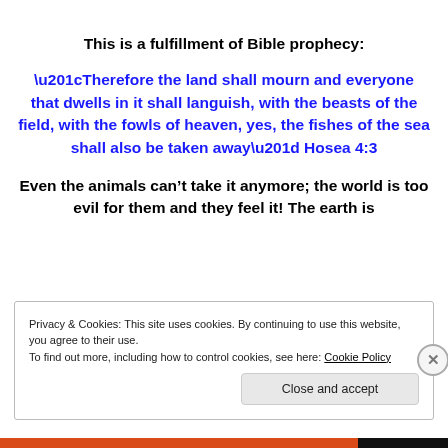This is a fulfillment of Bible prophecy:
“Therefore the land shall mourn and everyone that dwells in it shall languish, with the beasts of the field, with the fowls of heaven, yes, the fishes of the sea shall also be taken away” Hosea 4:3
Even the animals can’t take it anymore; the world is too evil for them and they feel it! The earth is
Privacy & Cookies: This site uses cookies. By continuing to use this website, you agree to their use.
To find out more, including how to control cookies, see here: Cookie Policy
Close and accept